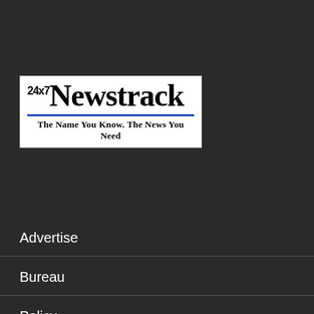[Figure (logo): Newstrack 24x7 logo with tagline 'The Name You Know. The News You Need']
Advertise
Bureau
Policy
About us
Submint Your Article